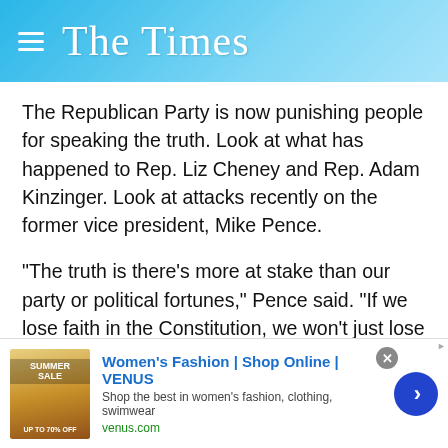The Times
The Republican Party is now punishing people for speaking the truth. Look at what has happened to Rep. Liz Cheney and Rep. Adam Kinzinger. Look at attacks recently on the former vice president, Mike Pence.
"The truth is there's more at stake than our party or political fortunes," Pence said. "If we lose faith in the Constitution, we won't just lose elections. We lose our country."
My own representative, Andrew Clyde, claimed the attack on the Capitol was regular tour groups roaming the building, yet
[Figure (screenshot): Advertisement banner: Women's Fashion | Shop Online | VENUS. Shop the best in women's fashion, clothing, swimwear. venus.com]